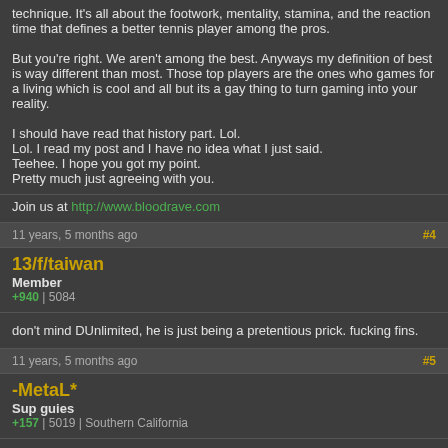technique. It's all about the footwork, mentality, stamina, and the reaction time that defines a better tennis player among the pros.

But you're right. We aren't among the best. Anyways my definition of best is way different than most. Those top players are the ones who games for a living which is cool and all but its a gay thing to turn gaming into your reality.

I should have read that history part. Lol.
Lol. I read my post and I have no idea what I just said.
Teehee. I hope you got my point.
Pretty much just agreeing with you.
Join us at http://www.bloodrave.com
11 years, 5 months ago
#4
13/f/taiwan
Member
+940 | 5084
don't mind DUnlimited, he is just being a pretentious prick. fucking fins.
11 years, 5 months ago
#5
-MetaL*
Sup guies
+157 | 5019 | Southern California
nobody will join from this site.